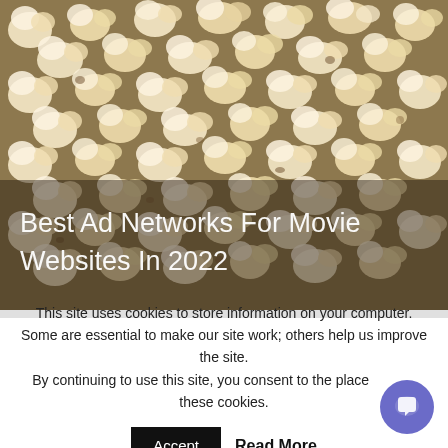[Figure (photo): Close-up photo of popcorn filling the frame, used as a hero background image for the article about best ad networks for movie websites.]
Best Ad Networks For Movie Websites In 2022
This site uses cookies to store information on your computer. Some are essential to make our site work; others help us improve the site. By continuing to use this site, you consent to the place these cookies.